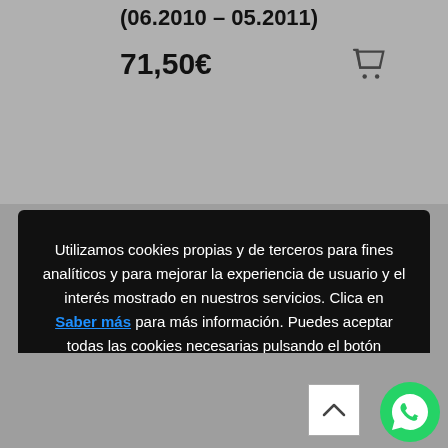(06.2010 – 05.2011)
71,50€
Utilizamos cookies propias y de terceros para fines analíticos y para mejorar la experiencia de usuario y el interés mostrado en nuestros servicios. Clica en Saber más para más información. Puedes aceptar todas las cookies necesarias pulsando el botón Aceptar o configurarlas o rechazar su uso pulsando el botón Configuración.
[Figure (screenshot): WhatsApp icon (green circle with phone handset)]
[Figure (other): Scroll-to-top button with upward chevron]